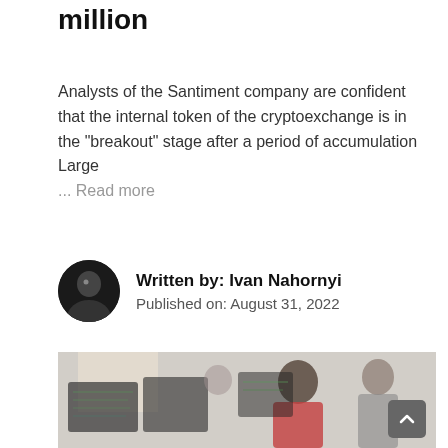million
Analysts of the Santiment company are confident that the internal token of the cryptoexchange is in the "breakout" stage after a period of accumulation Large
... Read more
Written by: Ivan Nahornyi
Published on: August 31, 2022
[Figure (photo): Two people working at computers with multiple monitors showing code or data screens in an office setting]